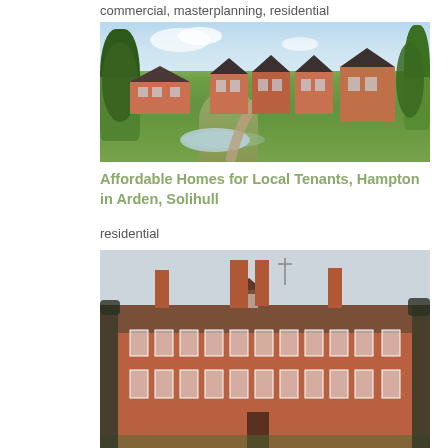commercial, masterplanning, residential
[Figure (photo): Architectural rendering of a residential development with brick houses, green landscaped grounds, a pond, and trees]
Affordable Homes for Local Tenants, Hampton in Arden, Solihull
residential
[Figure (photo): Photograph of a large Georgian-style red brick country house with multiple chimneys, sash windows, and dormers, surrounded by bare trees]